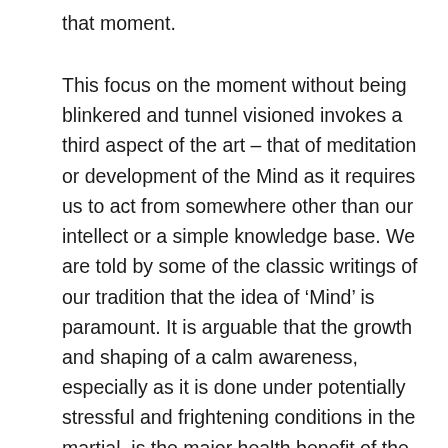that moment.
This focus on the moment without being blinkered and tunnel visioned invokes a third aspect of the art – that of meditation or development of the Mind as it requires us to act from somewhere other than our intellect or a simple knowledge base. We are told by some of the classic writings of our tradition that the idea of ‘Mind’ is paramount. It is arguable that the growth and shaping of a calm awareness, especially as it is done under potentially stressful and frightening conditions in the martial, is the major health benefit of the art. From this point of view it is hardly surprising that T’ai Chi can help with situations and conditions that develop under stress and pressure (and that is most of them) and that it is an art which can adapt itself to many different